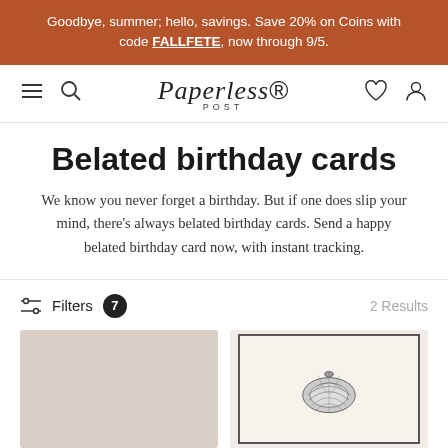Goodbye, summer; hello, savings. Save 20% on Coins with code FALLFETE, now through 9/5.
[Figure (logo): Paperless Post logo with navigation icons (hamburger menu, search, heart, user account)]
Belated birthday cards
We know you never forget a birthday. But if one does slip your mind, there's always belated birthday cards. Send a happy belated birthday card now, with instant tracking.
Filters 7    2 Results
[Figure (photo): Two greeting card thumbnails: a beige/tan blank card on the left and an illustrated shell/clam card with dark border on the right]